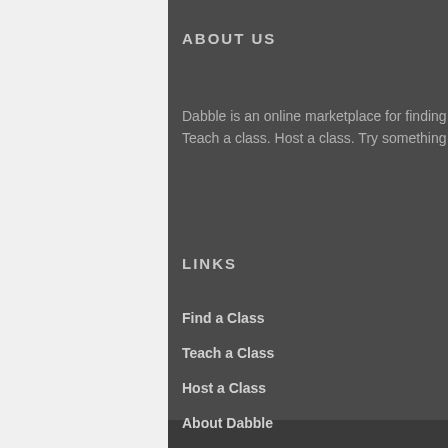ABOUT US
Dabble is an online marketplace for finding fun & affordable classes in the community. Take a class. Teach a class. Host a class. Try something new!
LINKS
Find a Class
Teach a Class
Host a Class
About Dabble